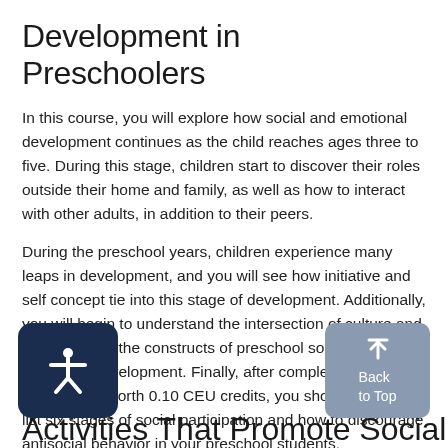Development in Preschoolers
In this course, you will explore how social and emotional development continues as the child reaches ages three to five. During this stage, children start to discover their roles outside their home and family, as well as how to interact with other adults, in addition to their peers.
During the preschool years, children experience many leaps in development, and you will see how initiative and self concept tie into this stage of development. Additionally, you will begin to understand the intersection of culture and gender within the constructs of preschool social and emotional development. Finally, after completing this hour-long course worth 0.10 CEU credits, you should be able to list six stages of social participation and how to discourage antisocial behavior in your preschool students.
Activities That Promote Social